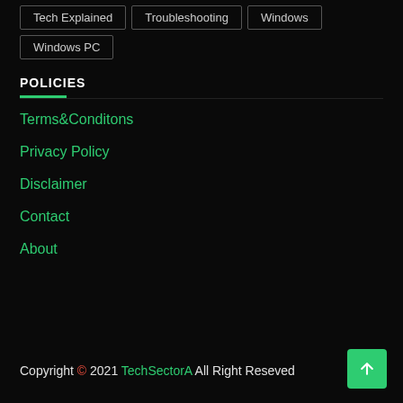Tech Explained
Troubleshooting
Windows
Windows PC
POLICIES
Terms&Conditons
Privacy Policy
Disclaimer
Contact
About
Copyright © 2021 TechSectorA All Right Reseved